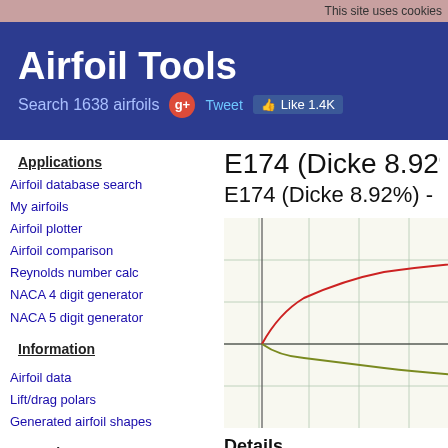This site uses cookies
Airfoil Tools
Search 1638 airfoils
Applications
Airfoil database search
My airfoils
Airfoil plotter
Airfoil comparison
Reynolds number calc
NACA 4 digit generator
NACA 5 digit generator
Information
Airfoil data
Lift/drag polars
Generated airfoil shapes
Searches
Symmetrical airfoils
NACA 4 digit airfoils
NACA 5 digit airfoils
NACA 6 series airfoils
Airfoils A to Z
A a18 to avistar (88)
B b29root to hw3 (22)
E174 (Dicke 8.92%) (e
E174 (Dicke 8.92%) - Eppler
[Figure (continuous-plot): Airfoil shape plot showing E174 profile with red upper surface curve and olive/dark-yellow lower surface curve on a grid background. The airfoil curves extend horizontally across the chart with a vertical reference line near the left side.]
Details
(e174-il) E174 (Dicke 8.92%)